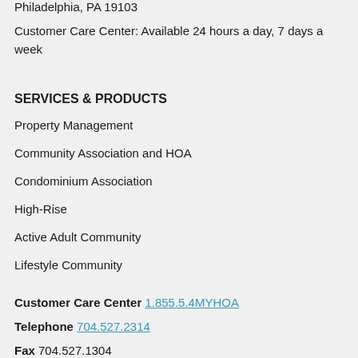Philadelphia, PA 19103
Customer Care Center: Available 24 hours a day, 7 days a week
SERVICES & PRODUCTS
Property Management
Community Association and HOA
Condominium Association
High-Rise
Active Adult Community
Lifestyle Community
Customer Care Center 1.855.5.4MYHOA
Telephone 704.527.2314
Fax 704.527.1304